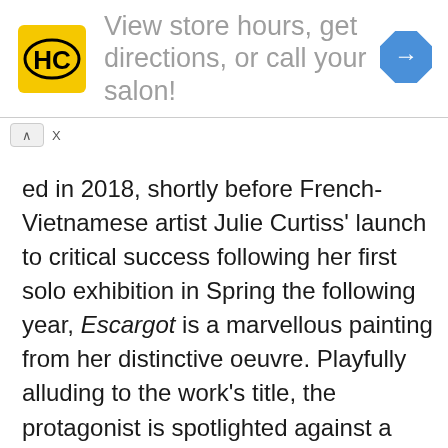[Figure (other): Advertisement banner with HC (Hair Club) logo, text 'View store hours, get directions, or call your salon!' and a blue navigation arrow icon]
ed in 2018, shortly before French-Vietnamese artist Julie Curtiss' launch to critical success following her first solo exhibition in Spring the following year, Escargot is a marvellous painting from her distinctive oeuvre. Playfully alluding to the work's title, the protagonist is spotlighted against a rosy mocha background, her hair tightly twisted into two spiralling buns reminiscent of coiling snail shells, perfectly exemplifying Curtiss' reworking of female representations through a surrealist sense of the uncanny. Her top auction result was recently achieved by Phillips New York in June 2021 when Three Widows